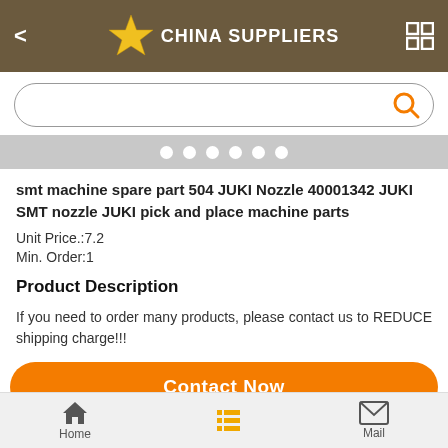CHINA SUPPLIERS
[Figure (screenshot): Search bar with orange search icon on right, rounded rectangle border]
[Figure (other): Carousel pagination dots: 6 white dots on grey background]
smt machine spare part 504 JUKI Nozzle 40001342 JUKI SMT nozzle JUKI pick and place machine parts
Unit Price.:7.2
Min. Order:1
Product Description
If you need to order many products, please contact us to REDUCE shipping charge!!!
Contact Now
Home   Mail